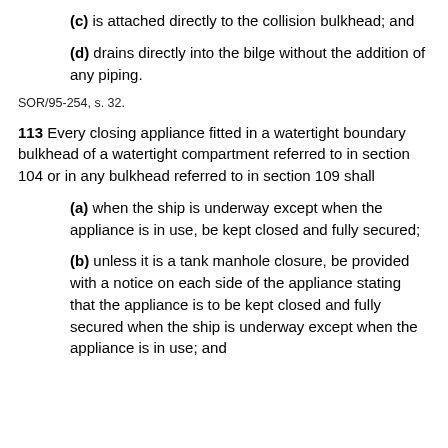(c) is attached directly to the collision bulkhead; and
(d) drains directly into the bilge without the addition of any piping.
SOR/95-254, s. 32.
113 Every closing appliance fitted in a watertight boundary bulkhead of a watertight compartment referred to in section 104 or in any bulkhead referred to in section 109 shall
(a) when the ship is underway except when the appliance is in use, be kept closed and fully secured;
(b) unless it is a tank manhole closure, be provided with a notice on each side of the appliance stating that the appliance is to be kept closed and fully secured when the ship is underway except when the appliance is in use; and